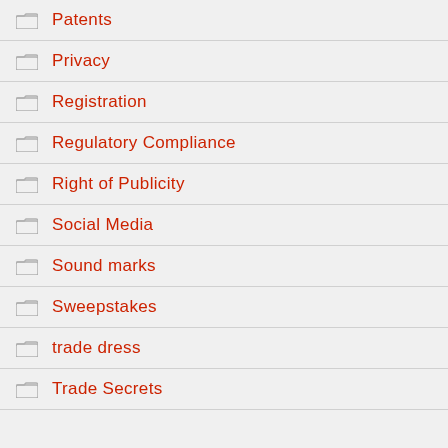Patents
Privacy
Registration
Regulatory Compliance
Right of Publicity
Social Media
Sound marks
Sweepstakes
trade dress
Trade Secrets